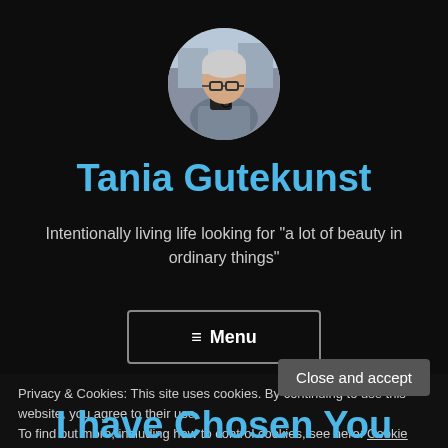[Figure (photo): Circular profile photo of Tania Gutekunst, a woman with glasses and gray/white hair, holding a camera, outdoors.]
Tania Gutekunst
Intentionally living life looking for "a lot of beauty in ordinary things"
≡ Menu
Privacy & Cookies: This site uses cookies. By continuing to use this website, you agree to their use.
To find out more, including how to control cookies, see here: Cookie Policy
Close and accept
I have Chosen You